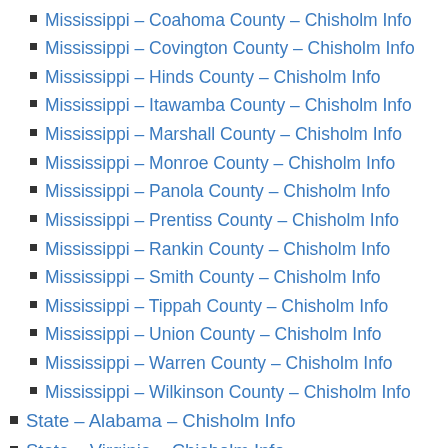Mississippi – Coahoma County – Chisholm Info
Mississippi – Covington County – Chisholm Info
Mississippi – Hinds County – Chisholm Info
Mississippi – Itawamba County – Chisholm Info
Mississippi – Marshall County – Chisholm Info
Mississippi – Monroe County – Chisholm Info
Mississippi – Panola County – Chisholm Info
Mississippi – Prentiss County – Chisholm Info
Mississippi – Rankin County – Chisholm Info
Mississippi – Smith County – Chisholm Info
Mississippi – Tippah County – Chisholm Info
Mississippi – Union County – Chisholm Info
Mississippi – Warren County – Chisholm Info
Mississippi – Wilkinson County – Chisholm Info
State – Alabama – Chisholm Info
State – Virginia – Chisholm Info
State – South Carolina – Chisholm Info
State – Tennessee – Chisholm Info
State – Georgia – Chisholm Info